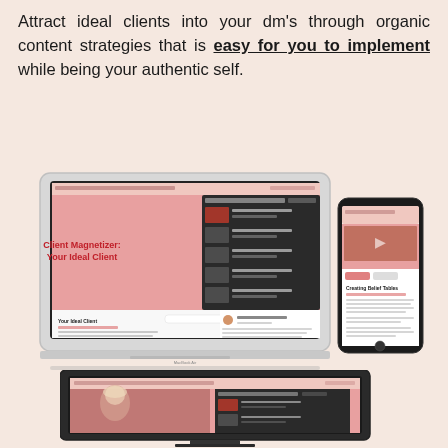Attract ideal clients into your dm's through organic content strategies that is easy for you to implement while being your authentic self.
[Figure (screenshot): Screenshot of an online course platform shown on a MacBook Air laptop and an iPhone. The laptop screen shows a pink-themed course page titled 'Client Magnetizer: Your Ideal Client' with lesson thumbnails on the right side and text content below. The iPhone on the right shows a mobile view of the same platform with a lesson about 'Creating Belief Tables'.]
[Figure (screenshot): Partial screenshot of a dark-framed laptop/monitor showing the bottom portion of the same course platform, with a pink background, a video thumbnail of a blonde woman, and course content panels visible.]